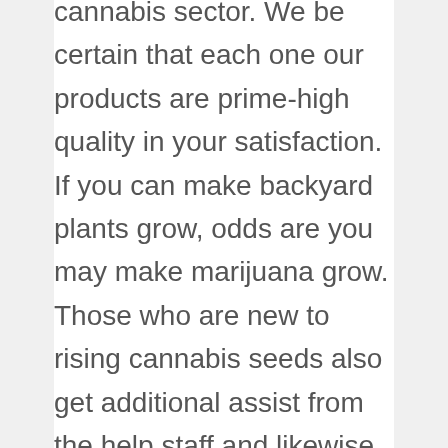cannabis sector. We be certain that each one our products are prime-high quality in your satisfaction. If you can make backyard plants grow, odds are you may make marijuana grow. Those who are new to rising cannabis seeds also get additional assist from the help staff and likewise the growing guides available on the web site. Your cannabis store should have knowledgeable ecommerce layout, with categories, resources, and data organized in an easy-to-navigate webpage. On the website is an informative blog part the place you may get the latest news on the earth of weed, with growing guides that can assist you make informed weed farming decisions. Excellent